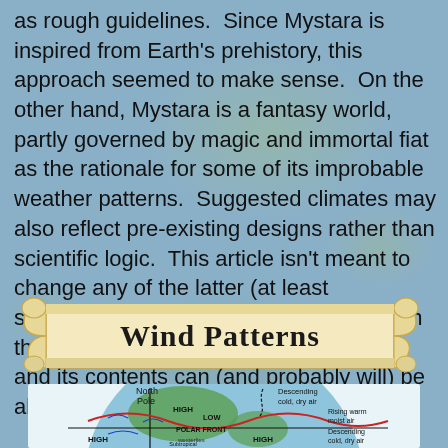as rough guidelines. Since Mystara is inspired from Earth's prehistory, this approach seemed to make sense. On the other hand, Mystara is a fantasy world, partly governed by magic and immortal fiat as the rationale for some of its improbable weather patterns. Suggested climates may also reflect pre-existing designs rather than scientific logic. This article isn't meant to change any of the latter (at least substantially), neither is it the last word on the subject. It remains open for debate, and its contents can (and probably will) be altered over time.
Wind Patterns
[Figure (illustration): Diagram of Earth's wind patterns showing a globe with North Pole at top, labeled zones including HIGH and LOW pressure areas, POLAR FRONT, westerlies, Subtropical High Pressure, Northeast Trades, Low Pressure. Arrows indicate Descending cold dry air, Rising warm moist air, and Rising warm air. A red sinusoidal line circles the globe.]